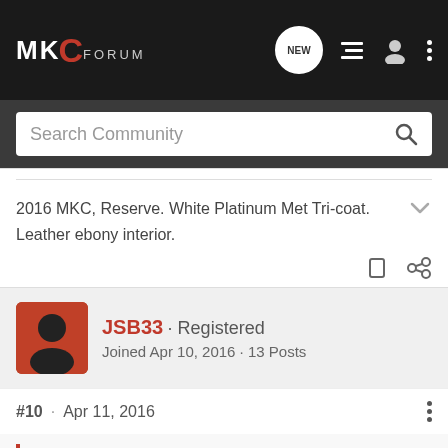MKC FORUM
Search Community
2016 MKC, Reserve. White Platinum Met Tri-coat. Leather ebony interior.
JSB33 · Registered
Joined Apr 10, 2016 · 13 Posts
#10 · Apr 11, 2016
5.0 Candy REDCS said: ↑
It's insane....Where the **** is spring!!!!! We've had light dusting of snow in my neck of the woods, my ATV is still sporting a plow blade, just in case, and snowblowers are at the ready for walkways to the